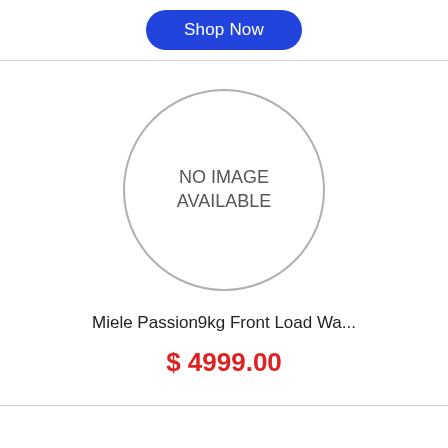Shop Now
[Figure (illustration): Circle placeholder with text 'NO IMAGE AVAILABLE' inside]
Miele Passion9kg Front Load Wa...
$ 4999.00
Shop Now